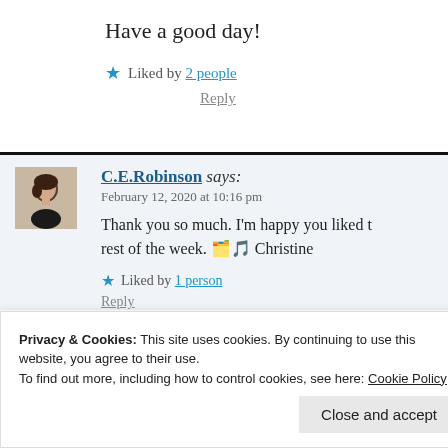Have a good day!
★ Liked by 2 people
Reply
C.E.Robinson says: February 12, 2020 at 10:16 pm
Thank you so much. I'm happy you liked t[he poem]... rest of the week. 🗂️🎶 Christine
★ Liked by 1 person
Reply
Privacy & Cookies: This site uses cookies. By continuing to use this website, you agree to their use. To find out more, including how to control cookies, see here: Cookie Policy
Close and accept